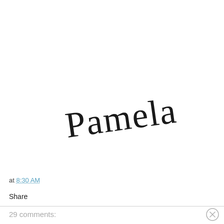[Figure (illustration): Cursive/script signature reading 'Pamela' in large black handwritten-style font, slightly tilted]
at 8:30 AM
Share
29 comments: